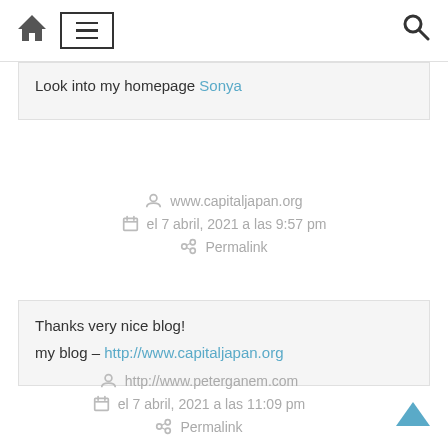Home | Menu | Search
Look into my homepage Sonya
www.capitaljapan.org
el 7 abril, 2021 a las 9:57 pm
Permalink
Thanks very nice blog!

my blog – http://www.capitaljapan.org
http://www.peterganem.com
el 7 abril, 2021 a las 11:09 pm
Permalink